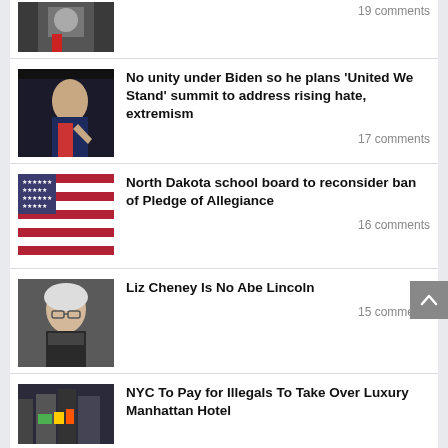[Figure (photo): Partial view of a man in suit with red tie, partially cropped at top]
19 comments
[Figure (photo): Joe Biden in profile pointing finger, dark background]
No unity under Biden so he plans ‘United We Stand’ summit to address rising hate, extremism
17 comments
[Figure (photo): American flag, close-up with stars and stripes]
North Dakota school board to reconsider ban of Pledge of Allegiance
16 comments
[Figure (photo): Liz Cheney, blonde woman with glasses, serious expression]
Liz Cheney Is No Abe Lincoln
15 comments
[Figure (photo): NYC Times Square area with buildings and screens]
NYC To Pay for Illegals To Take Over Luxury Manhattan Hotel